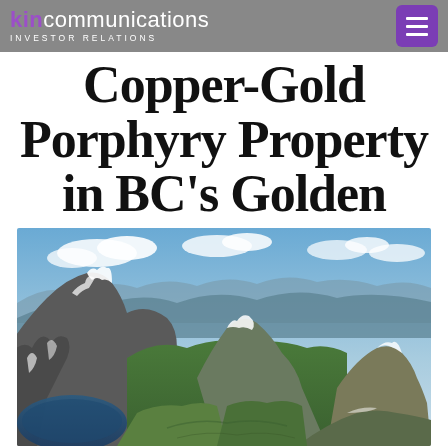kin communications INVESTOR RELATIONS
Copper-Gold Porphyry Property in BC's Golden Triangle
[Figure (photo): Aerial panoramic view of mountainous terrain in BC's Golden Triangle region, showing snow-capped rocky peaks, green valleys, a blue lake in the lower left, and distant mountain ranges under a partly cloudy sky.]